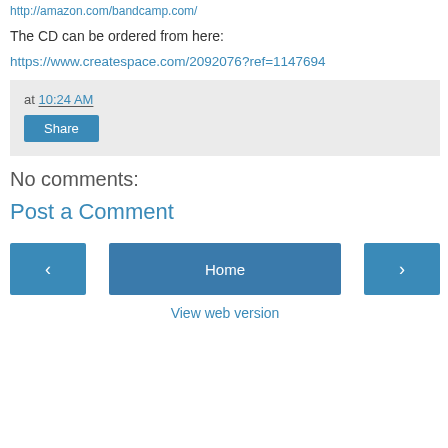http://amazon.com/bandcamp.com/
The CD can be ordered from here:
https://www.createspace.com/2092076?ref=1147694
at 10:24 AM
Share
No comments:
Post a Comment
< Home > View web version